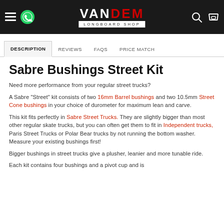VANDEM LONGBOARD SHOP
DESCRIPTION | REVIEWS | FAQS | PRICE MATCH
Sabre Bushings Street Kit
Need more performance from your regular street trucks?
A Sabre "Street" kit consists of two 16mm Barrel bushings and two 10.5mm Street Cone bushings in your choice of durometer for maximum lean and carve.
This kit fits perfectly in Sabre Street Trucks. They are slightly bigger than most other regular skate trucks, but you can often get them to fit in Independent trucks, Paris Street Trucks or Polar Bear trucks by not running the bottom washer. Measure your existing bushings first!
Bigger bushings in street trucks give a plusher, leanier and more tunable ride.
Each kit contains four bushings and a pivot cup and is...